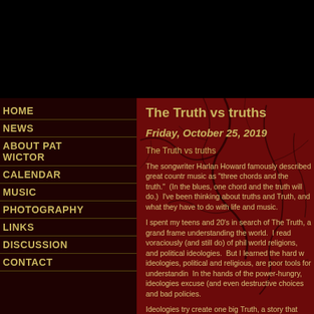HOME NEWS ABOUT PAT WICTOR CALENDAR MUSIC PHOTOGRAPHY LINKS DISCUSSION CONTACT
The Truth vs truths
Friday, October 25, 2019
The Truth vs truths
The songwriter Harlan Howard famously described great country music as "three chords and the truth."  (In the blues, one chord and the truth will do.)  I've been thinking about truths and Truth, and what they have to do with life and music.
I spent my teens and 20's in search of The Truth, a grand framework for understanding the world.  I read voraciously (and still do) of philosophy, world religions, and political ideologies.  But I learned the hard way that ideologies, political and religious, are poor tools for understanding.  In the hands of the power-hungry, ideologies excuse (and even celebrate) destructive choices and bad policies.
Ideologies try create one big Truth, a story that makes it all understandable.  But their explanations are always selective of the facts, omitting inconvenient ones that don't fit the story line.  I have not yet found...